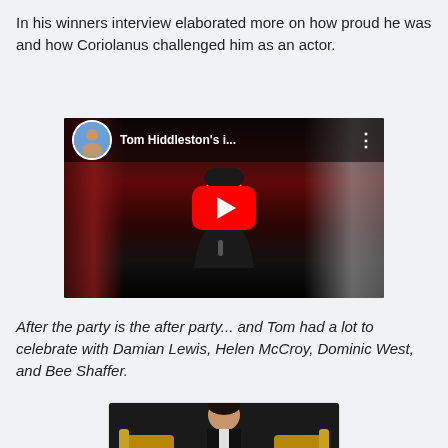In his winners interview elaborated more on how proud he was and how Coriolanus challenged him as an actor.
[Figure (screenshot): Embedded YouTube video thumbnail showing Tom Hiddleston in a tuxedo being interviewed, with the title 'Tom Hiddleston's i...' and a red YouTube play button overlay.]
After the party is the after party... and Tom had a lot to celebrate with Damian Lewis, Helen McCroy, Dominic West, and Bee Shaffer.
[Figure (photo): Partial photo at bottom of page showing a person in formal attire seated, with golden chair arms visible.]